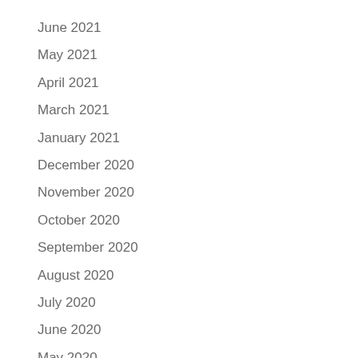June 2021
May 2021
April 2021
March 2021
January 2021
December 2020
November 2020
October 2020
September 2020
August 2020
July 2020
June 2020
May 2020
April 2020
March 2020